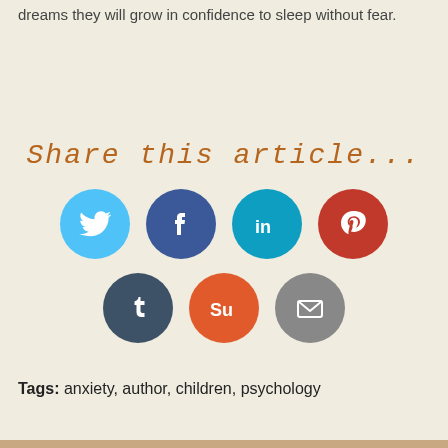dreams they will grow in confidence to sleep without fear.
Share this article...
[Figure (infographic): Social media sharing icons in two rows: Twitter (blue), Facebook (dark blue), LinkedIn (blue), Pinterest (red) in the first row; Tumblr (dark blue-grey), StumbleUpon (orange), Email (grey) in the second row.]
Tags: anxiety, author, children, psychology